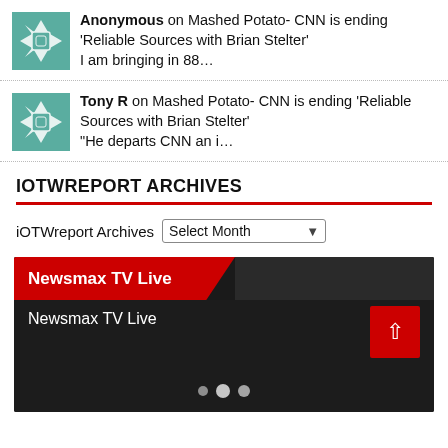Anonymous on Mashed Potato- CNN is ending 'Reliable Sources with Brian Stelter'
I am bringing in 88…
Tony R on Mashed Potato- CNN is ending 'Reliable Sources with Brian Stelter'
"He departs CNN an i…
IOTWREPORT ARCHIVES
iOTWreport Archives  Select Month
[Figure (screenshot): Newsmax TV Live embedded video player widget with red header banner and dark background showing loading dots]